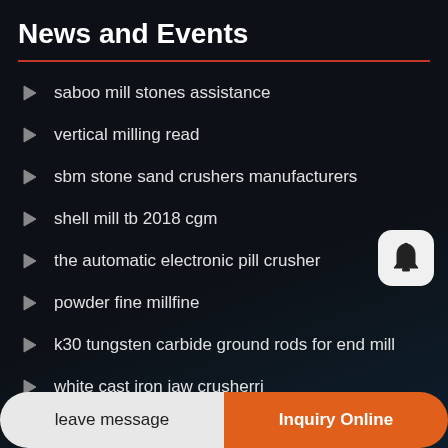News and Events
saboo mill stones assistance
vertical milling read
sbm stone sand crushers manufacturers
shell mill tb 2018 cgm
the automatic electronic pill crusher
powder fine millfine
k30 tungsten carbide ground rods for end mill
white cast iron jaw crusherri
protetrek k ene knee mill
leave message
Inquiry Online